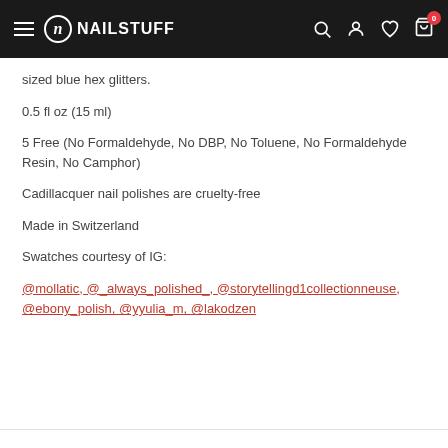NAILSTUFF
sized blue hex glitters.
0.5 fl oz (15 ml)
5 Free (No Formaldehyde, No DBP, No Toluene, No Formaldehyde Resin, No Camphor)
Cadillacquer nail polishes are cruelty-free
Made in Switzerland
Swatches courtesy of IG:
@mollatic, @_always_polished_, @storytellingd1collectionneuse, @ebony_polish, @yyulia_m, @lakodzen